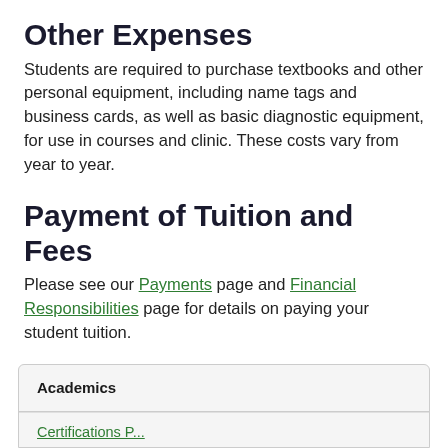Other Expenses
Students are required to purchase textbooks and other personal equipment, including name tags and business cards, as well as basic diagnostic equipment, for use in courses and clinic. These costs vary from year to year.
Payment of Tuition and Fees
Please see our Payments page and Financial Responsibilities page for details on paying your student tuition.
| Academics |
| --- |
| Certifications... |